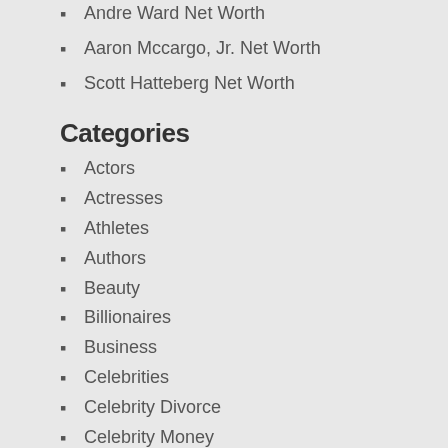Andre Ward Net Worth
Aaron Mccargo, Jr. Net Worth
Scott Hatteberg Net Worth
Categories
Actors
Actresses
Athletes
Authors
Beauty
Billionaires
Business
Celebrities
Celebrity Divorce
Celebrity Money
Celebrity Net Worth
CEO